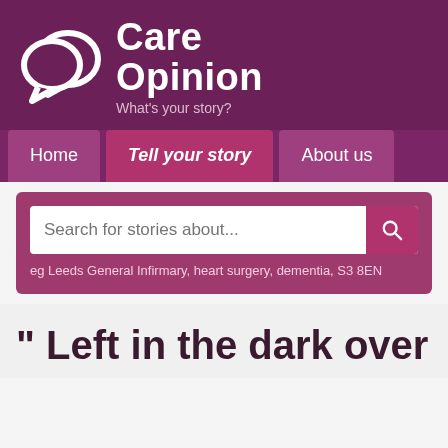[Figure (logo): Care Opinion logo with two speech bubble icons and tagline 'What's your story?']
Home | Tell your story | About us
Search for stories about... eg Leeds General Infirmary, heart surgery, dementia, S3 8EN
" Left in the dark over